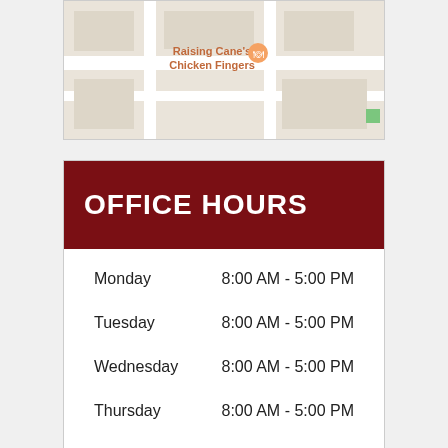[Figure (map): Google Maps screenshot showing location near Raising Cane's Chicken Fingers]
| Day | Hours |
| --- | --- |
| Monday | 8:00 AM - 5:00 PM |
| Tuesday | 8:00 AM - 5:00 PM |
| Wednesday | 8:00 AM - 5:00 PM |
| Thursday | 8:00 AM - 5:00 PM |
| Friday | 8:00 AM - 5:00 PM |